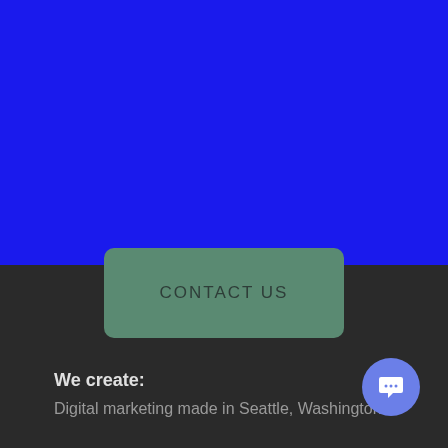[Figure (other): Large solid blue rectangle occupying the top portion of the page]
CONTACT US
We create:
Digital marketing made in Seattle, Washington.